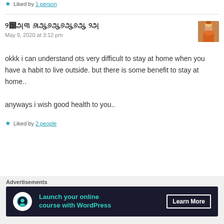★ Liked by 1 person
ठीक है परमात्मा भी
May 9, 2020 at 3:12 pm
okkk i can understand ots very difficult to stay at home when you have a habit to live outside. but there is some benefit to stay at home..
anyways i wish good health to you..
★ Liked by 2 people
[Figure (photo): Avatar thumbnail of commenter — colorful image of a figure]
Advertisements
[Figure (infographic): Advertisement banner: Launch your online course with WordPress — Learn More button on dark navy background with teal text and circular icon]